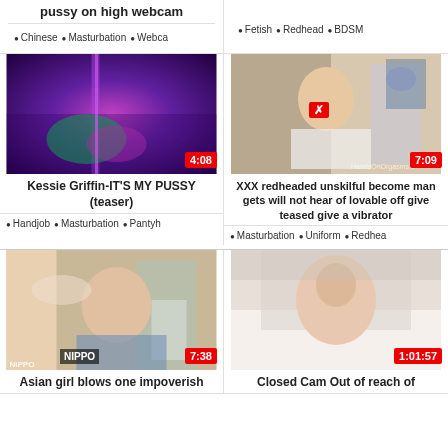pussy on high webcam
Chinese  Masturbation  Webcam
Fetish  Redhead  BDSM
[Figure (photo): Strip club dancer under UV/neon lights]
4:08
Kessie Griffin-IT'S MY PUSSY (teaser)
Handjob  Masturbation  Pantyh
[Figure (photo): Redheaded woman on chair in white lingerie]
7:09
XXX redheaded unskilful become man gets will not hear of lovable off give teased give a vibrator
Masturbation  Uniform  Redhead
[Figure (photo): Asian woman in bathroom scene]
7:38
Asian girl blows one impoverish
[Figure (photo): Young woman on bed, bedroom scene]
1:01:57
Closed Cam Out of reach of